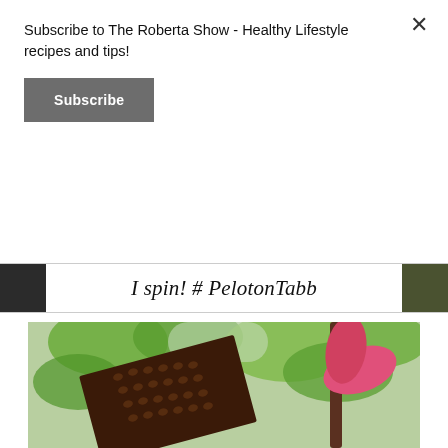Subscribe to The Roberta Show - Healthy Lifestyle recipes and tips!
Subscribe
I spin! # PelotonTabb
[Figure (photo): A chocolate seed bar or snack covered in dark seeds/cocoa nibs held up against a background of green tropical leaves and a pink flower/plant.]